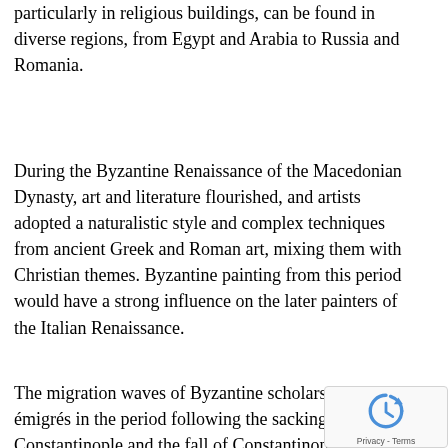particularly in religious buildings, can be found in diverse regions, from Egypt and Arabia to Russia and Romania.
During the Byzantine Renaissance of the Macedonian Dynasty, art and literature flourished, and artists adopted a naturalistic style and complex techniques from ancient Greek and Roman art, mixing them with Christian themes. Byzantine painting from this period would have a strong influence on the later painters of the Italian Renaissance.
The migration waves of Byzantine scholars and émigrés in the period following the sacking of Constantinople and the fall of Constantinople in 1453 is considered by many scholars to be key to the revival of Greek and Roman studies that led to the development of the Renaissance in humanism and science. These émigrés were grammarians, humanists, poets, writers, printers, lecturers, musicians, astronomers, architects,